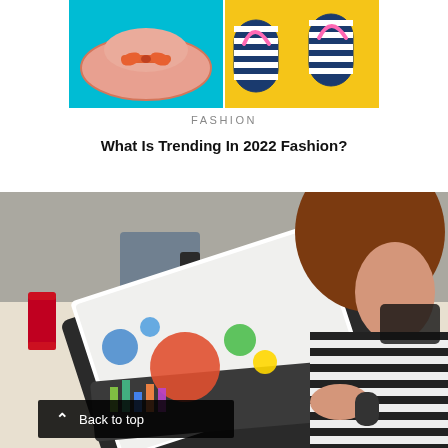[Figure (photo): Flat lay fashion image showing a pink sun hat on teal background on the left and striped flip flops on yellow background on the right]
FASHION
What Is Trending In 2022 Fashion?
[Figure (photo): Woman with brown hair wearing a black and white striped shirt working on a laptop. The laptop screen shows a colorful infographic with bubble charts and bar charts. A red can is visible on the left, and there is a desk with various items around her.]
Back to top